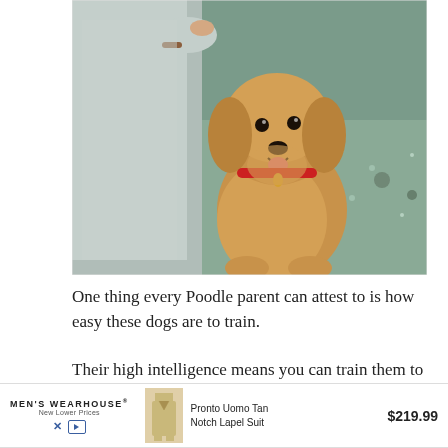[Figure (photo): A golden Poodle dog with red collar sitting on frost-covered grass, looking up at a person in a grey fleece jacket who is holding a treat above the dog.]
One thing every Poodle parent can attest to is how easy these dogs are to train.
Their high intelligence means you can train them to behave and they'll listen better than most breeds.
If you are allergic to dogs, you can train your
[Figure (other): Advertisement banner: MEN'S WEARHOUSE New Lower Prices — Pronto Uomo Tan Notch Lapel Suit $219.99, with a photo of a man in a tan suit.]